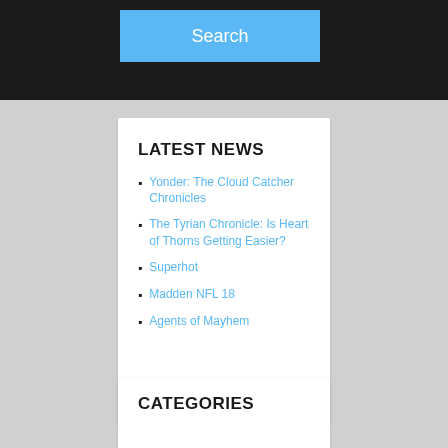Search
LATEST NEWS
Yonder: The Cloud Catcher Chronicles
The Tyrian Chronicle: Is Heart of Thorns Getting Easier?
Superhot
Madden NFL 18
Agents of Mayhem
CATEGORIES